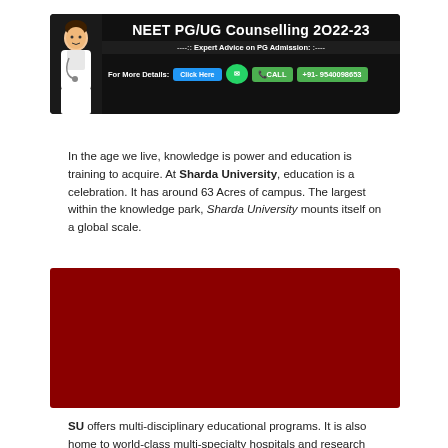[Figure (infographic): NEET PG/UG Counselling 2022-23 advertisement banner with doctor illustration, expert advice tagline, click here button, call button, and phone number +91-9540098653]
In the age we live, knowledge is power and education is training to acquire. At Sharda University, education is a celebration. It has around 63 Acres of campus. The largest within the knowledge park, Sharda University mounts itself on a global scale.
[Figure (photo): Dark red/maroon colored image block representing a campus or university photo]
SU offers multi-disciplinary educational programs. It is also home to world-class multi-specialty hospitals and research facilities. Sharda University is a pool of campus placement centers for various MNCs.